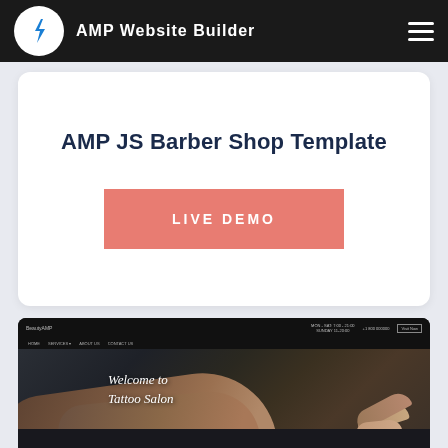AMP Website Builder
AMP JS Barber Shop Template
LIVE DEMO
[Figure (screenshot): Screenshot of a barber/tattoo salon website template with dark header navigation showing 'BeautyAMP', phone and hours info, and a dark hero image of a tattooed arm/hand with text 'Welcome to Tattoo Salon']